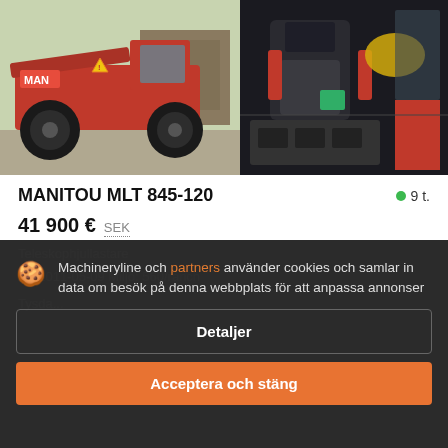[Figure (photo): Red Manitou MLT 845-120 telehandler machine, outdoor, side view with large tires]
[Figure (photo): Interior/cabin view of the Manitou telehandler, showing seat and controls]
MANITOU MLT 845-120
● 9 t.
41 900 €  SEK
Teleskophjullastare
År: 2011-05-09 Miljö: 560/ranch
Tysda...
Machineryline och partners använder cookies och samlar in data om besök på denna webbplats för att anpassa annonser
Detaljer
Acceptera och stäng